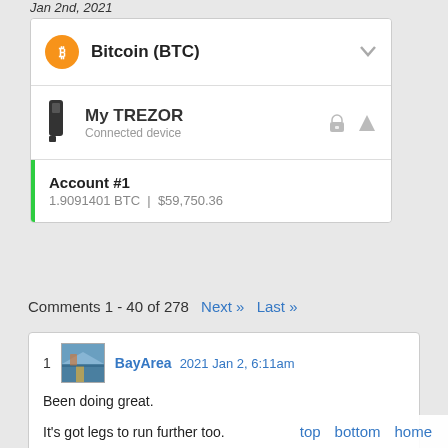Jan 2nd, 2021
[Figure (screenshot): Trezor wallet interface showing Bitcoin (BTC) selection, My TREZOR connected device, and Account #1 with balance 1.9091401 BTC | $59,750.36]
Comments 1 - 40 of 278  Next »  Last »
1  BayArea  2021 Jan 2, 6:11am

Been doing great.

It's got legs to run further too.

Disclaimer: I don't recommend anyone buy. Bu... problem with crypto making up 1-2% of your in...